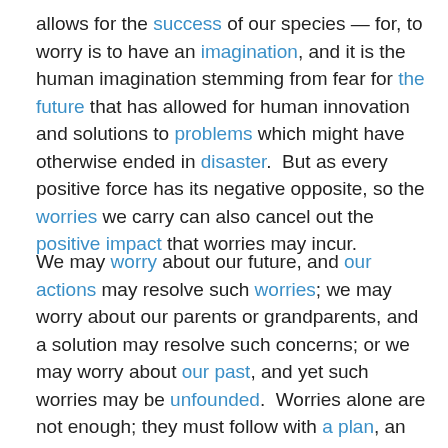allows for the success of our species — for, to worry is to have an imagination, and it is the human imagination stemming from fear for the future that has allowed for human innovation and solutions to problems which might have otherwise ended in disaster.  But as every positive force has its negative opposite, so the worries we carry can also cancel out the positive impact that worries may incur.
We may worry about our future, and our actions may resolve such worries; we may worry about our parents or grandparents, and a solution may resolve such concerns; or we may worry about our past, and yet such worries may be unfounded.  Worries alone are not enough; they must follow with a plan, an action, an implementation of a goal derived.